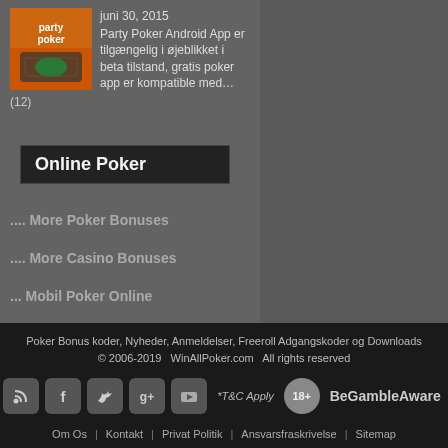[Figure (photo): Party Poker logo thumbnail image]
juni 30, 2015
Party Poker Android App er tilgængelig i øjeblikket i beta tilstand, gratis poker app er kompatible med…
(12)
Online Poker
.... More Poker Bonuses
.... More Casino Bonuses
... Mobil Poker Online
[Figure (illustration): Social media icons: RSS, Facebook, Twitter, YouTube]
Poker Bonus koder, Nyheder, Anmeldelser, Freeroll Adgangskoder og Downloads
© 2006-2019   WinAllPoker.com   All rights reserved
*T&C Apply  18+  BeGambleAware
Om Os | Kontakt | Privat Politik | Ansvarsfraskrivelse | Sitemap